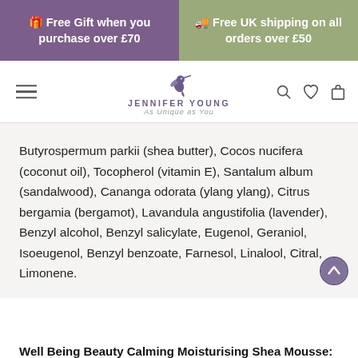🎁 Free Gift when you purchase over £70
🚚 Free UK shipping on all orders over £50
[Figure (logo): Jennifer Young brand logo with hummingbird and tagline 'As Unique as You']
Butyrospermum parkii (shea butter), Cocos nucifera (coconut oil), Tocopherol (vitamin E), Santalum album (sandalwood), Cananga odorata (ylang ylang), Citrus bergamia (bergamot), Lavandula angustifolia (lavender), Benzyl alcohol, Benzyl salicylate, Eugenol, Geraniol, Isoeugenol, Benzyl benzoate, Farnesol, Linalool, Citral, Limonene.
Well Being Beauty Calming Moisturising Shea Mousse: